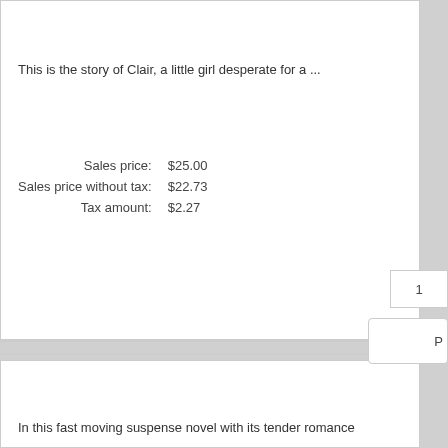This is the story of Clair, a little girl desperate for a ...
| Sales price: | $25.00 |
| Sales price without tax: | $22.73 |
| Tax amount: | $2.27 |
In this fast moving suspense novel with its tender romance